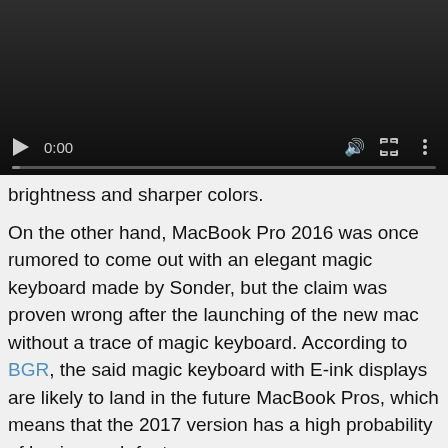[Figure (screenshot): Video player with dark background, showing playback controls: play button, time display '0:00', volume icon, fullscreen icon, and more options icon. Progress bar at the bottom.]
brightness and sharper colors.
On the other hand, MacBook Pro 2016 was once rumored to come out with an elegant magic keyboard made by Sonder, but the claim was proven wrong after the launching of the new mac without a trace of magic keyboard. According to BGR, the said magic keyboard with E-ink displays are likely to land in the future MacBook Pros, which means that the 2017 version has a high probability of having such feature.
MacBook Pro 2017 Release Date
A well-trusted tech analyst of KGI Securities Ming-Chi Kuo has revealed through Mac Rumors that Apple is likely to release